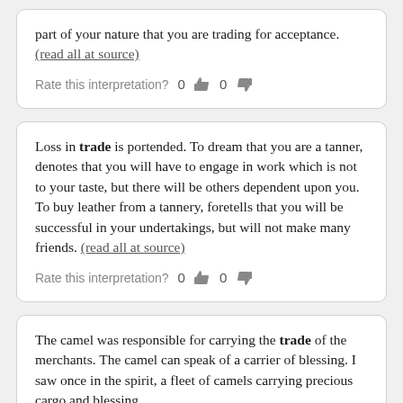part of your nature that you are trading for acceptance. (read all at source)
Rate this interpretation? 0 [thumbs up] 0 [thumbs down]
Loss in trade is portended. To dream that you are a tanner, denotes that you will have to engage in work which is not to your taste, but there will be others dependent upon you. To buy leather from a tannery, foretells that you will be successful in your undertakings, but will not make many friends. (read all at source)
Rate this interpretation? 0 [thumbs up] 0 [thumbs down]
The camel was responsible for carrying the trade of the merchants. The camel can speak of a carrier of blessing. I saw once in the spirit, a fleet of camels carrying precious cargo and blessing.